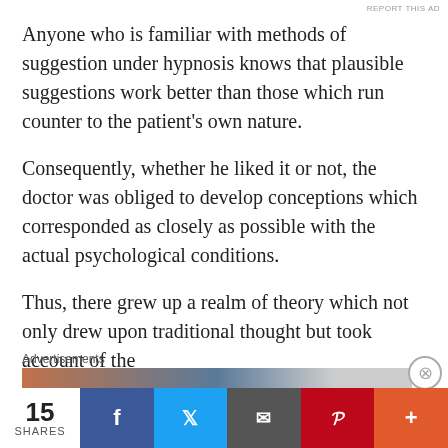REPORT THIS AD
Anyone who is familiar with methods of suggestion under hypnosis knows that plausible suggestions work better than those which run counter to the patient’s own nature.
Consequently, whether he liked it or not, the doctor was obliged to develop conceptions which corresponded as closely as possible with the actual psychological conditions.
Thus, there grew up a realm of theory which not only drew upon traditional thought but took account of the
Advertisements
15 SHARES